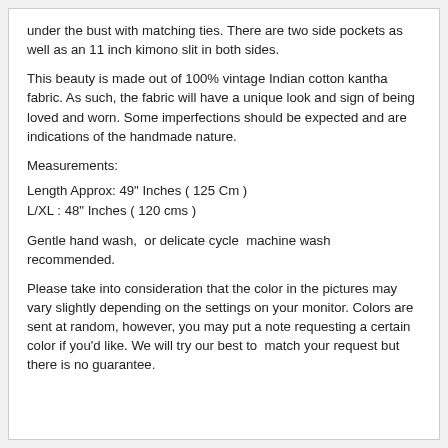under the bust with matching ties. There are two side pockets as well as an 11 inch kimono slit in both sides.
This beauty is made out of 100% vintage Indian cotton kantha fabric. As such, the fabric will have a unique look and sign of being loved and worn. Some imperfections should be expected and are indications of the handmade nature.
Measurements:
Length Approx: 49" Inches ( 125 Cm )
L/XL : 48" Inches ( 120 cms )
Gentle hand wash,  or delicate cycle  machine wash recommended.
Please take into consideration that the color in the pictures may vary slightly depending on the settings on your monitor. Colors are sent at random, however, you may put a note requesting a certain color if you'd like. We will try our best to  match your request but there is no guarantee.